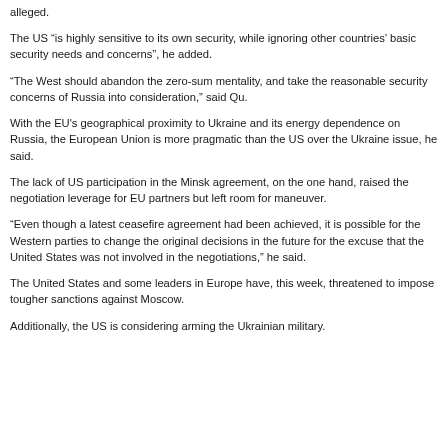alleged.
The US “is highly sensitive to its own security, while ignoring other countries’ basic security needs and concerns”, he added.
“The West should abandon the zero-sum mentality, and take the reasonable security concerns of Russia into consideration,” said Qu.
With the EU's geographical proximity to Ukraine and its energy dependence on Russia, the European Union is more pragmatic than the US over the Ukraine issue, he said.
The lack of US participation in the Minsk agreement, on the one hand, raised the negotiation leverage for EU partners but left room for maneuver.
“Even though a latest ceasefire agreement had been achieved, it is possible for the Western parties to change the original decisions in the future for the excuse that the United States was not involved in the negotiations,” he said.
The United States and some leaders in Europe have, this week, threatened to impose tougher sanctions against Moscow.
Additionally, the US is considering arming the Ukrainian military.